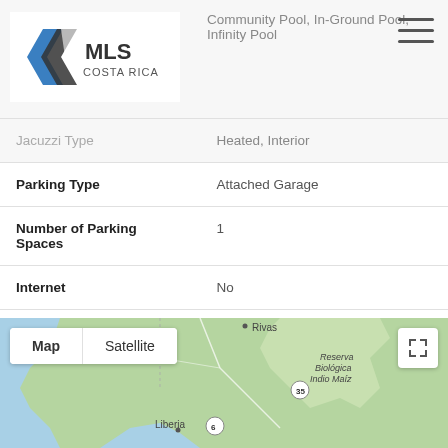| Property | Value |
| --- | --- |
| Pool Type | Community Pool, In-Ground Pool, Infinity Pool |
| Jacuzzi Type | Heated, Interior |
| Parking Type | Attached Garage |
| Number of Parking Spaces | 1 |
| Internet | No |
| Television | No |
| BBQ | Yes |
[Figure (map): Google Maps view showing Rivas, Liberia, and Reserva Biológica Indio Maíz in Costa Rica/Nicaragua border region with Map/Satellite toggle buttons]